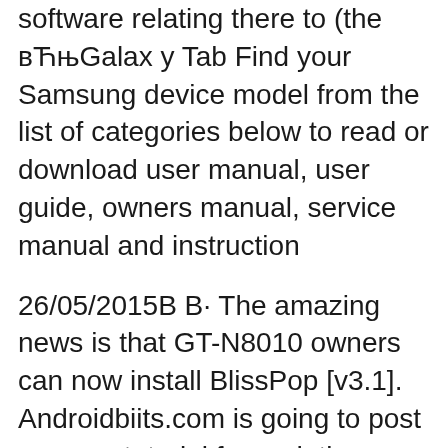software relating there to (the вЋњGalax y Tab Find your Samsung device model from the list of categories below to read or download user manual, user guide, owners manual, service manual and instruction
26/05/2015В В· The amazing news is that GT-N8010 owners can now install BlissPop [v3.1]. Androidbiits.com is going to post an easy tutorial for updating Samsung Galaxy Note 10.1 GT-N8010 to Android 5.1 Lollipop using BlissPop [v3.1]. No doubt, this is an amazing news for the proud owners of GT-N8010 who are desperately waiting to test Lollipop 5.1 on GT-N8010. 26/05/2015В В· The amazing news is